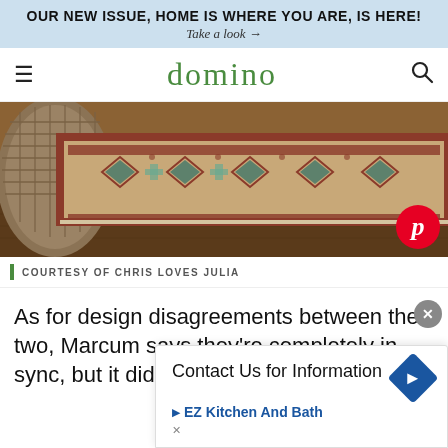OUR NEW ISSUE, HOME IS WHERE YOU ARE, IS HERE!
Take a look →
domino
[Figure (photo): Photo of a decorative Oriental/Persian rug with red and teal geometric patterns laid on wooden floor, with a woven basket visible at left edge. Pinterest share button overlay at bottom right.]
COURTESY OF CHRIS LOVES JULIA
As for design disagreements between the two, Marcum says they're completely in sync, but it did take a while to hit their
[Figure (screenshot): Advertisement overlay: 'Contact Us for Information' with a blue diamond navigation icon and EZ Kitchen And Bath brand link with arrow icon and close X button.]